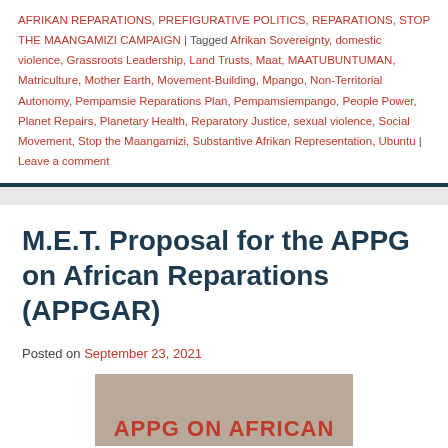AFRIKAN REPARATIONS, PREFIGURATIVE POLITICS, REPARATIONS, STOP THE MAANGAMIZI CAMPAIGN | Tagged Afrikan Sovereignty, domestic violence, Grassroots Leadership, Land Trusts, Maat, MAATUBUNTUMAN, Matriculture, Mother Earth, Movement-Building, Mpango, Non-Territorial Autonomy, Pempamsie Reparations Plan, Pempamsiempango, People Power, Planet Repairs, Planetary Health, Reparatory Justice, sexual violence, Social Movement, Stop the Maangamizi, Substantive Afrikan Representation, Ubuntu | Leave a comment
M.E.T. Proposal for the APPG on African Reparations (APPGAR)
Posted on September 23, 2021
[Figure (other): Partial image showing text 'APPG ON AFRICAN' in bold red letters on a tan/beige background, cropped at bottom of page]